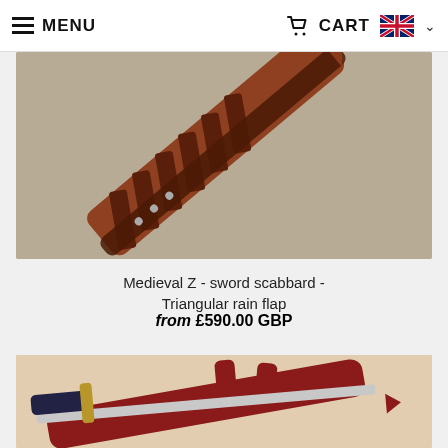MENU  CART
[Figure (photo): A brown leather sword scabbard with a Z-pattern wrap and triangular rain flap, photographed diagonally on a grey linen background.]
Medieval Z - sword scabbard - Triangular rain flap
from £590.00 GBP
[Figure (photo): A medieval sword with a dark handle and crossguard alongside a red leather scabbard with suspension straps, photographed on a light beige background.]